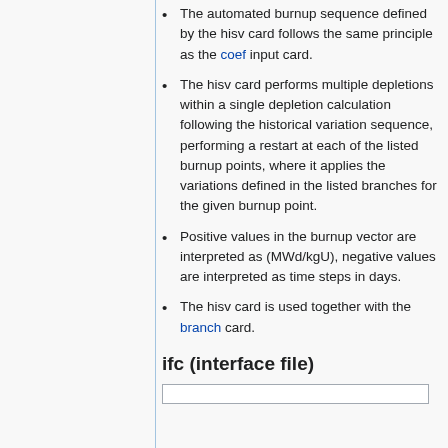The automated burnup sequence defined by the hisv card follows the same principle as the coef input card.
The hisv card performs multiple depletions within a single depletion calculation following the historical variation sequence, performing a restart at each of the listed burnup points, where it applies the variations defined in the listed branches for the given burnup point.
Positive values in the burnup vector are interpreted as (MWd/kgU), negative values are interpreted as time steps in days.
The hisv card is used together with the branch card.
ifc (interface file)